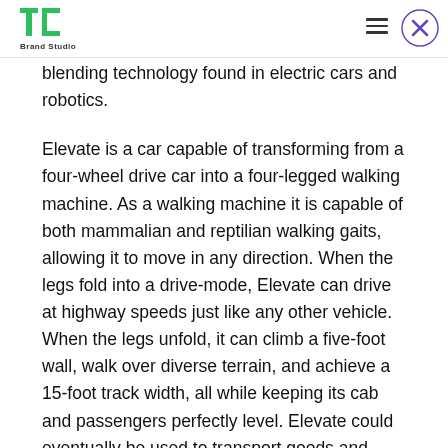TechCrunch Brand Studio
blending technology found in electric cars and robotics.
Elevate is a car capable of transforming from a four-wheel drive car into a four-legged walking machine. As a walking machine it is capable of both mammalian and reptilian walking gaits, allowing it to move in any direction. When the legs fold into a drive-mode, Elevate can drive at highway speeds just like any other vehicle. When the legs unfold, it can climb a five-foot wall, walk over diverse terrain, and achieve a 15-foot track width, all while keeping its cab and passengers perfectly level. Elevate could eventually be used to transport goods and